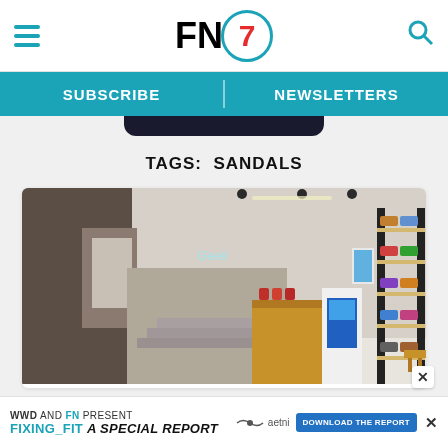FN7 - Footwear News header with hamburger menu and search icon
SUBSCRIBE   NEWSLETTERS
TAGS: SANDALS
[Figure (photo): Interior of a modern shoe retail store with shelves displaying sneakers, wooden display counter, neon sign reading 'Geek', and concrete walls with track lighting]
WWD AND FN PRESENT FIXING_FIT A SPECIAL REPORT - DOWNLOAD THE REPORT